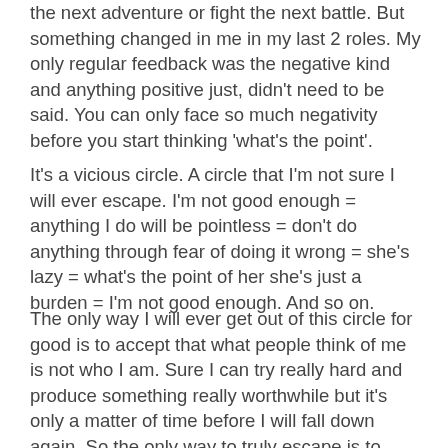the next adventure or fight the next battle. But something changed in me in my last 2 roles. My only regular feedback was the negative kind and anything positive just, didn't need to be said. You can only face so much negativity before you start thinking 'what's the point'.
It's a vicious circle. A circle that I'm not sure I will ever escape. I'm not good enough = anything I do will be pointless = don't do anything through fear of doing it wrong = she's lazy = what's the point of her she's just a burden = I'm not good enough. And so on.
The only way I will ever get out of this circle for good is to accept that what people think of me is not who I am. Sure I can try really hard and produce something really worthwhile but it's only a matter of time before I will fall down again. So the only way to truly escape is to accept myself as I am and to not be driven by what others think of me and place my worth on the value of what others think.